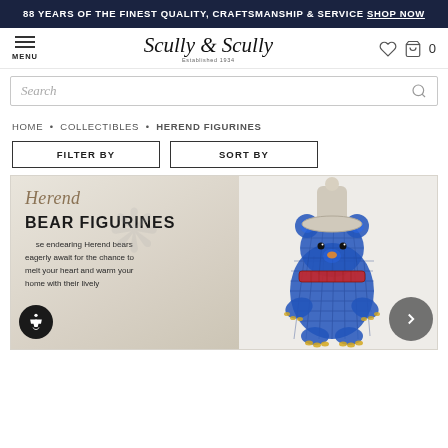88 YEARS OF THE FINEST QUALITY, CRAFTSMANSHIP & SERVICE SHOP NOW
[Figure (logo): Scully & Scully established 1934 logo with menu icon and cart/wishlist icons]
Search
HOME • COLLECTIBLES • HEREND FIGURINES
FILTER BY   SORT BY
[Figure (illustration): Herend brand banner showing script Herend logo, BEAR FIGURINES heading, descriptive text about endearing Herend bears, and a blue fishnet patterned Herend bear figurine with winter hat and scarf]